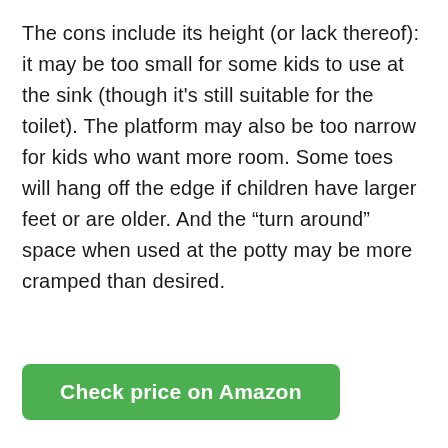The cons include its height (or lack thereof): it may be too small for some kids to use at the sink (though it's still suitable for the toilet). The platform may also be too narrow for kids who want more room. Some toes will hang off the edge if children have larger feet or are older. And the “turn around” space when used at the potty may be more cramped than desired.
Check price on Amazon